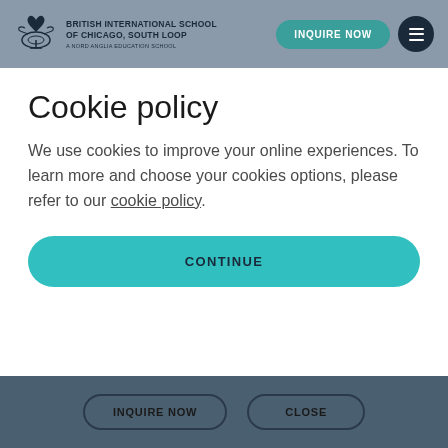BRITISH INTERNATIONAL SCHOOL OF CHICAGO, SOUTH LOOP — A NORD ANGLIA EDUCATION SCHOOL
Cookie policy
We use cookies to improve your online experiences. To learn more and choose your cookies options, please refer to our cookie policy.
CONTINUE
INQUIRE NOW   CLOSE